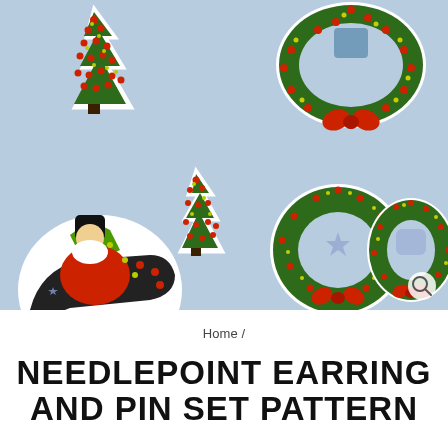[Figure (photo): Photo of six needlepoint Christmas jewelry pieces on a light blue background: two Christmas tree pins/earrings (one larger, one smaller), a Santa Claus sleigh pin, two wreath pins/earrings, and one larger wreath. The pieces are cross-stitched in red, green, yellow-green, and black on white plastic canvas. A magnifying glass icon appears in the bottom right corner.]
Home /
NEEDLEPOINT EARRING AND PIN SET PATTERN